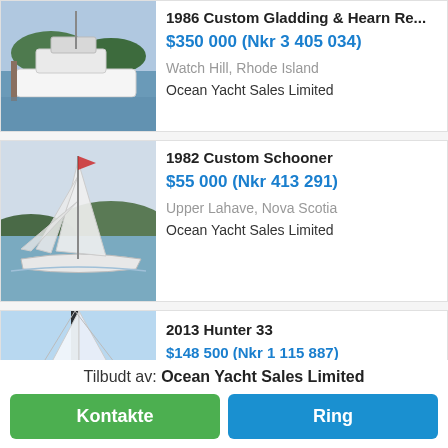[Figure (photo): White motor yacht docked at marina, 1986 Custom Gladding & Hearn listing photo]
1986 Custom Gladding & Hearn Re...
$350 000 (Nkr 3 405 034)
Watch Hill, Rhode Island
Ocean Yacht Sales Limited
[Figure (photo): Sailing schooner under full sail on open water, 1982 Custom Schooner listing photo]
1982 Custom Schooner
$55 000 (Nkr 413 291)
Upper Lahave, Nova Scotia
Ocean Yacht Sales Limited
[Figure (photo): Sailboat from bow angle, 2013 Hunter 33 listing photo (partially visible)]
2013 Hunter 33
$148 500 (Nkr 1 115 887)
Tilbudt av: Ocean Yacht Sales Limited
Kontakte
Ring